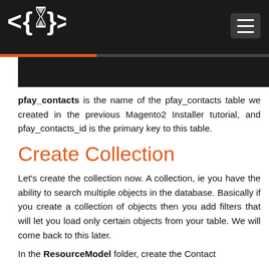<{X}> [logo] [hamburger menu]
pfay_contacts is the name of the pfay_contacts table we created in the previous Magento2 Installer tutorial, and pfay_contacts_id is the primary key to this table.
Create Collection
Let's create the collection now. A collection, ie you have the ability to search multiple objects in the database. Basically if you create a collection of objects then you add filters that will let you load only certain objects from your table. We will come back to this later.
In the ResourceModel folder, create the Contact folder, and in this folder the Collection.php